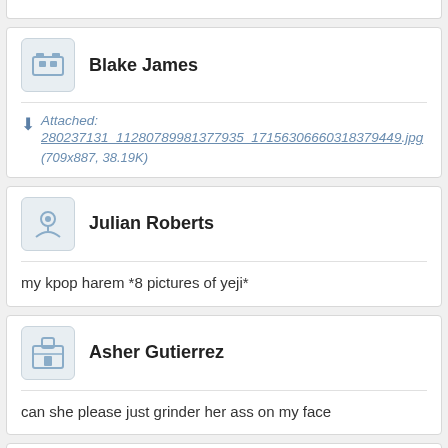Blake James
Attached: 280237131_11280789981377935_17156306660318379449.jpg (709x887, 38.19K)
Julian Roberts
my kpop harem *8 pictures of yeji*
Asher Gutierrez
can she please just grinder her ass on my face
Thomas Richardson
heejin jisoo seulgi yuqi
somi nancy sieun yeji